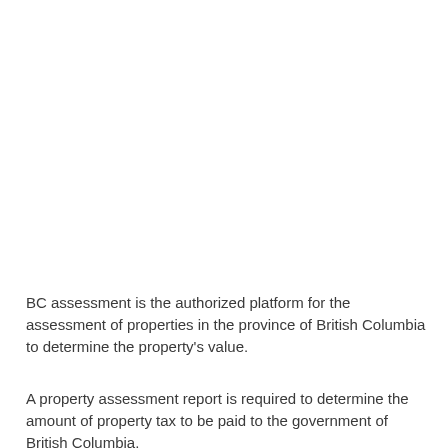BC assessment is the authorized platform for the assessment of properties in the province of British Columbia to determine the property's value.
A property assessment report is required to determine the amount of property tax to be paid to the government of British Columbia.